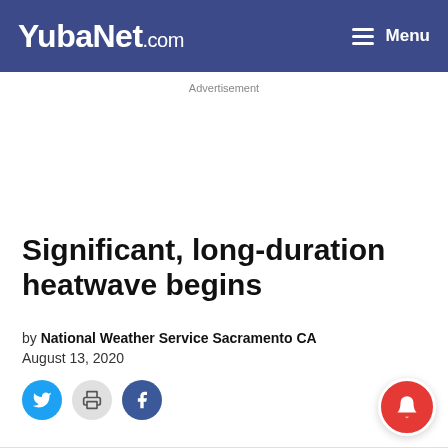YubaNet.com  Menu
Advertisement
Significant, long-duration heatwave begins
by National Weather Service Sacramento CA
August 13, 2020